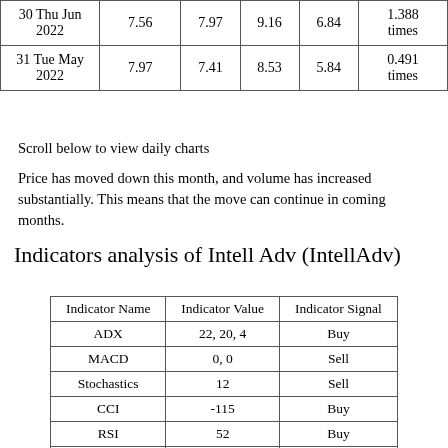|  |  |  |  |  |  |
| --- | --- | --- | --- | --- | --- |
| 30 Thu Jun 2022 | 7.56 | 7.97 | 9.16 | 6.84 | 1.388 times |
| 31 Tue May 2022 | 7.97 | 7.41 | 8.53 | 5.84 | 0.491 times |
Scroll below to view daily charts
Price has moved down this month, and volume has increased substantially. This means that the move can continue in coming months.
Indicators analysis of Intell Adv (IntellAdv)
| Indicator Name | Indicator Value | Indicator Signal |
| --- | --- | --- |
| ADX | 22, 20, 4 | Buy |
| MACD | 0, 0 | Sell |
| Stochastics | 12 | Sell |
| CCI | -115 | Buy |
| RSI | 52 | Buy |
| OBV | 120518 | Sell |
| VWAP | 8 | Sell |